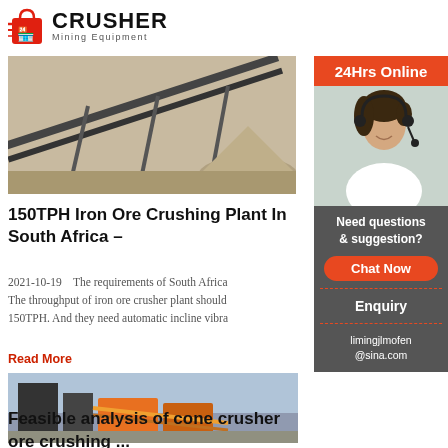[Figure (logo): Crusher Mining Equipment logo with red shopping bag icon and bold CRUSHER text]
[Figure (photo): Conveyor belt carrying iron ore at a mining/crushing plant facility]
150TPH Iron Ore Crushing Plant In South Africa –
2021-10-19   The requirements of South Africa... The throughput of iron ore crusher plant should 150TPH. And they need automatic incline vibra
Read More
[Figure (photo): Orange industrial cone crusher machinery at a mining site]
Feasible analysis of cone crusher ore crushing ...
[Figure (photo): 24Hrs Online customer service representative with headset smiling]
Need questions & suggestion?
Chat Now
Enquiry
limingjlmofen@sina.com